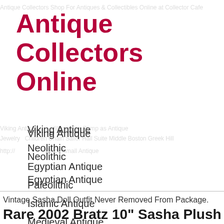Antique Collectors Online
Viking Antique
Neolithic
Egyptian Antique
Paleolithic
Islamic Antique
Medieval Antique
Vintage Sasha Doll Outfit Never Removed From Package.
Rare 2002 Bratz 10" Sasha Plush Doll